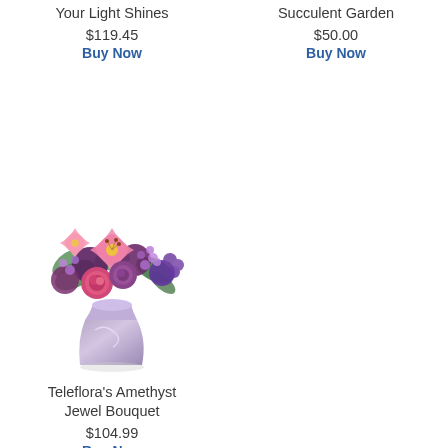Your Light Shines
$119.45
Buy Now
Succulent Garden
$50.00
Buy Now
[Figure (photo): Flower bouquet: Teleflora's Amethyst Jewel Bouquet in a lavender vase with pink lilies, purple roses, and mixed purple flowers]
Teleflora's Amethyst Jewel Bouquet
$104.99
Buy Now